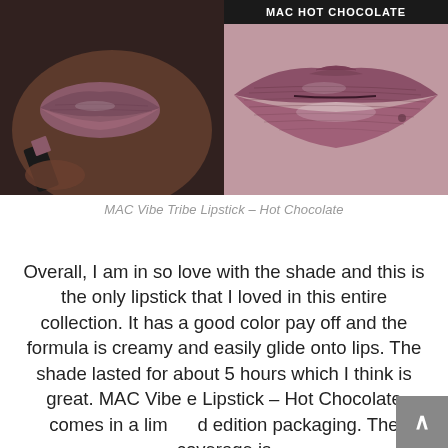[Figure (photo): Two side-by-side close-up photos of lips wearing MAC Vibe Tribe Lipstick in Hot Chocolate shade. Left photo shows lips being applied with lipstick bullet, right photo shows full close-up of lips with the mauve-pink shade.]
MAC Vibe Tribe Lipstick – Hot Chocolate
Overall, I am in so love with the shade and this is the only lipstick that I loved in this entire collection. It has a good color pay off and the formula is creamy and easily glide onto lips. The shade lasted for about 5 hours which I think is great. MAC Vibe Tribe Lipstick – Hot Chocolate comes in a limited edition packaging. The coverage is